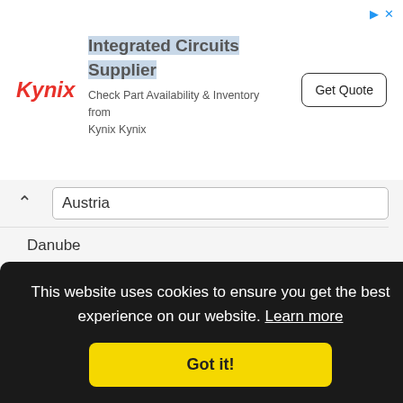[Figure (screenshot): Kynix advertisement banner with logo, 'Integrated Circuits Supplier' heading, subtext, and 'Get Quote' button]
Austria / Danube
Warsaw / Poland / Vistula
Washington D.C. / U.S.A.
This website uses cookies to ensure you get the best experience on our website. Learn more
Got it!